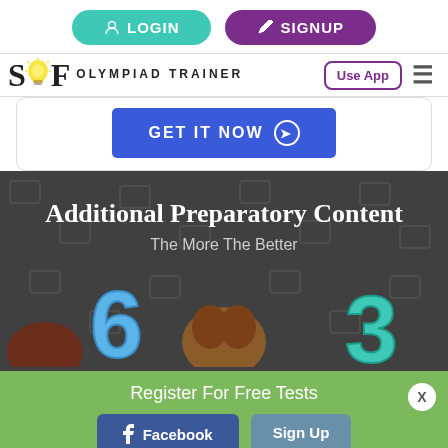[Figure (screenshot): Login and Signup buttons at top of SOF Olympiad Trainer website navigation]
[Figure (logo): SOF Olympiad Trainer logo with lightbulb icon]
[Figure (screenshot): GET IT NOW call-to-action button in blue]
Additional Preparatory Content
The More The Better
[Figure (illustration): Cartoon characters with numbers 6 and 3 on dark background]
Register For Free Tests
[Figure (screenshot): Facebook and Sign Up buttons on green background]